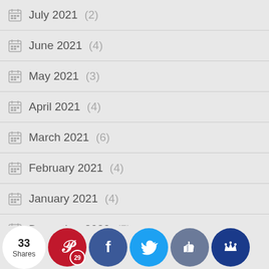July 2021 (2)
June 2021 (4)
May 2021 (3)
April 2021 (4)
March 2021 (6)
February 2021 (4)
January 2021 (4)
December 2020 (5)
November 2020 (2)
October ... (4)